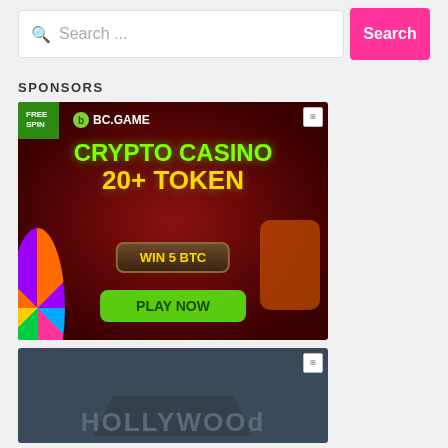[Figure (screenshot): Search bar with magnifying glass icon and placeholder text 'Search ...' and a pink 'Search' button]
SPONSORS
[Figure (illustration): BC.GAME crypto casino advertisement banner with dark red background, FREE SPIN badge, BC.GAME logo, green 'CRYPTO CASINO' text, yellow '20+ TOKEN' text, 'WIN 5 BTC' button, green 'PLAY NOW' button, spin wheel and cowboy dinosaur character]
[Figure (illustration): Hollywood casino advertisement banner with dark blue-grey background showing partial 'HOLLYWOO' text in large letters]